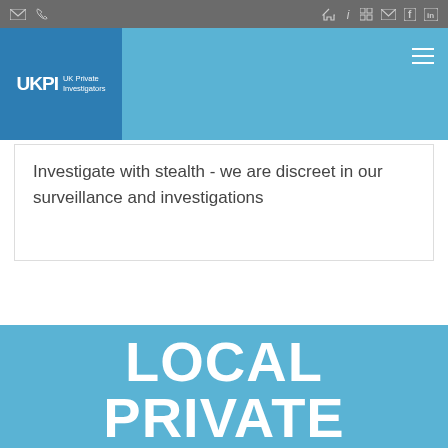[Figure (screenshot): Top navigation bar with icons for email, phone, home, info, grid, mail, Facebook, LinkedIn on grey background]
[Figure (logo): UKPI UK Private Investigators logo - white text on dark blue square background, part of blue navigation header]
Investigate with stealth - we are discreet in our surveillance and investigations
LOCAL PRIVATE